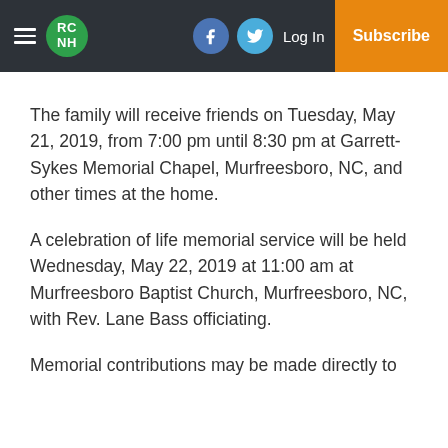RC NH | Log In | Subscribe
The family will receive friends on Tuesday, May 21, 2019, from 7:00 pm until 8:30 pm at Garrett-Sykes Memorial Chapel, Murfreesboro, NC, and other times at the home.
A celebration of life memorial service will be held Wednesday, May 22, 2019 at 11:00 am at Murfreesboro Baptist Church, Murfreesboro, NC, with Rev. Lane Bass officiating.
Memorial contributions may be made directly to